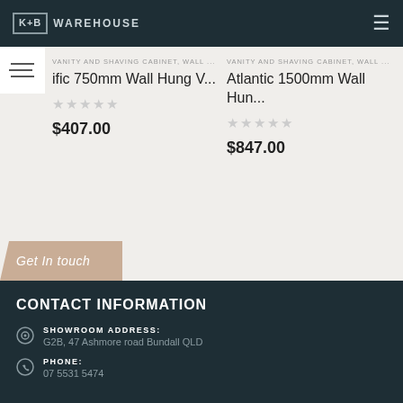K+B WAREHOUSE
VANITY AND SHAVING CABINET, WALL ...
Pacific 750mm Wall Hung V...
$407.00
VANITY AND SHAVING CABINET, WALL ...
Atlantic 1500mm Wall Hun...
$847.00
Get In touch
CONTACT INFORMATION
SHOWROOM ADDRESS:
G2B, 47 Ashmore road Bundall QLD
PHONE:
07 5531 5474